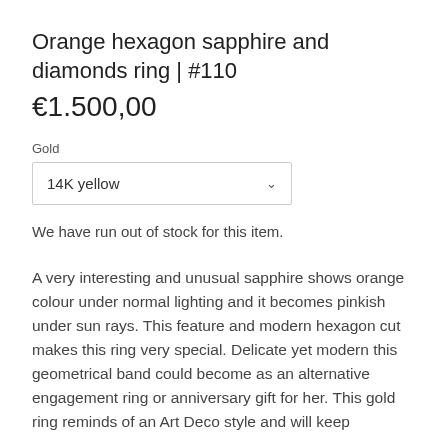Orange hexagon sapphire and diamonds ring | #110
€1.500,00
Gold
14K yellow
We have run out of stock for this item.
A very interesting and unusual sapphire shows orange colour under normal lighting and it becomes pinkish under sun rays. This feature and modern hexagon cut makes this ring very special. Delicate yet modern this geometrical band could become as an alternative engagement ring or anniversary gift for her. This gold ring reminds of an Art Deco style and will keep